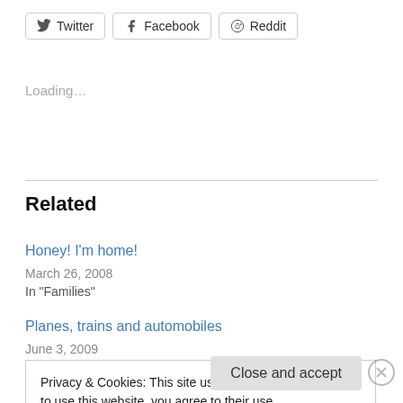[Figure (other): Social share buttons: Twitter, Facebook, Reddit]
Loading...
Related
Honey! I'm home!
March 26, 2008
In "Families"
Planes, trains and automobiles
June 3, 2009
Privacy & Cookies: This site uses cookies. By continuing to use this website, you agree to their use.
To find out more, including how to control cookies, see here: Cookie Policy